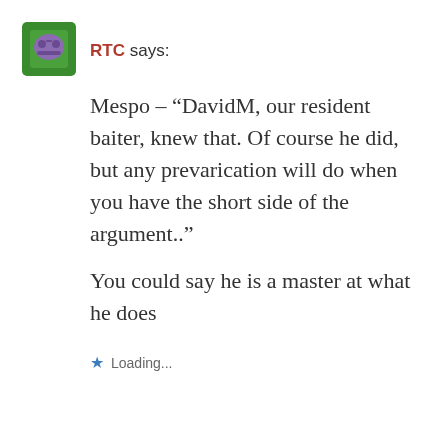[Figure (illustration): Green square avatar with a purple game controller or face icon]
RTC says:
Mespo – “DavidM, our resident baiter, knew that. Of course he did, but any prevarication will do when you have the short side of the argument..”

You could say he is a master at what he does
★ Loading...